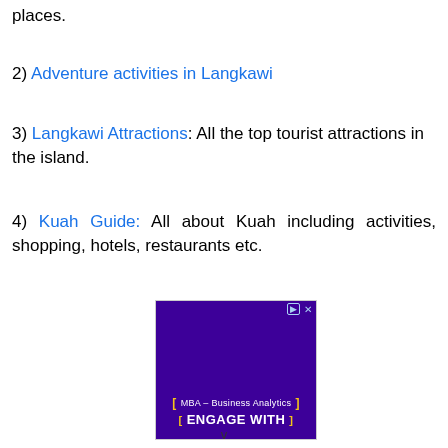places.
2) Adventure activities in Langkawi
3) Langkawi Attractions: All the top tourist attractions in the island.
4) Kuah Guide: All about Kuah including activities, shopping, hotels, restaurants etc.
[Figure (screenshot): Purple advertisement banner for MBA - Business Analytics with text 'ENGAGE WITH' and bracket decorations. Has close/info icons at top right.]
v